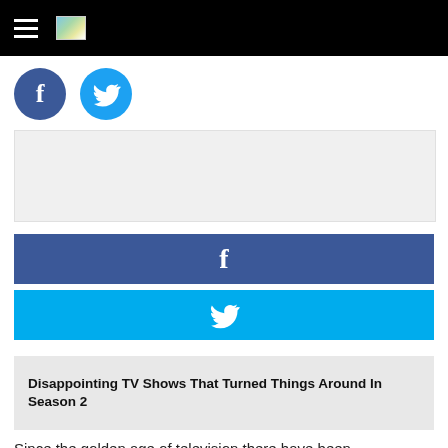[Figure (logo): Hamburger menu icon and small landscape logo image in black header bar]
[Figure (logo): Facebook circle icon (dark blue) and Twitter circle icon (light blue) social share buttons]
[Figure (other): Advertisement placeholder box (light gray)]
[Figure (other): Facebook share button bar (dark blue with white f icon)]
[Figure (other): Twitter share button bar (cyan with white bird icon)]
Disappointing TV Shows That Turned Things Around In Season 2
Since the golden age of television there have been